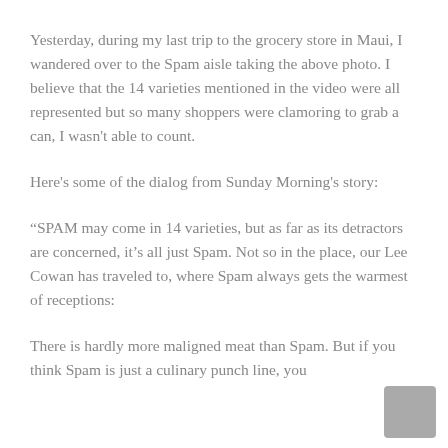Yesterday, during my last trip to the grocery store in Maui, I wandered over to the Spam aisle taking the above photo. I believe that the 14 varieties mentioned in the video were all represented but so many shoppers were clamoring to grab a can, I wasn't able to count.
Here's some of the dialog from Sunday Morning's story:
“SPAM may come in 14 varieties, but as far as its detractors are concerned, it’s all just Spam. Not so in the place, our Lee Cowan has traveled to, where Spam always gets the warmest of receptions:
There is hardly more maligned meat than Spam. But if you think Spam is just a culinary punch line, you